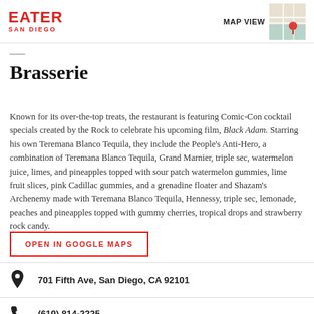EATER SAN DIEGO | MAP VIEW
Brasserie
Known for its over-the-top treats, the restaurant is featuring Comic-Con cocktail specials created by the Rock to celebrate his upcoming film, Black Adam. Starring his own Teremana Blanco Tequila, they include the People's Anti-Hero, a combination of Teremana Blanco Tequila, Grand Marnier, triple sec, watermelon juice, limes, and pineapples topped with sour patch watermelon gummies, lime fruit slices, pink Cadillac gummies, and a grenadine floater and Shazam's Archenemy made with Teremana Blanco Tequila, Hennessy, triple sec, lemonade, peaches and pineapples topped with gummy cherries, tropical drops and strawberry rock candy.
OPEN IN GOOGLE MAPS
701 Fifth Ave, San Diego, CA 92101
(619) 814-2225